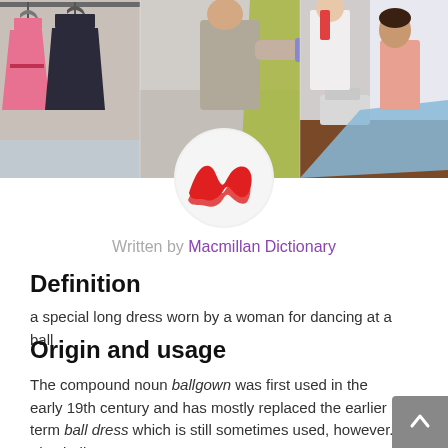[Figure (photo): Banner photo showing fashion/dressmaking scenes: left panel shows clothes hanging on a rack including a pink dress and dark jacket, center panel shows a person holding green fabric, right panel shows a person working at a desk with blue fabric and a sewing machine.]
[Figure (logo): Macmillan Dictionary logo: red wave/bird shape on a light grey circle background]
Written by Macmillan Dictionary
Definition
a special long dress worn by a woman for dancing at a ball
Origin and usage
The compound noun ballgown was first used in the early 19th century and has mostly replaced the earlier term ball dress which is still sometimes used, however. The 'ball' part